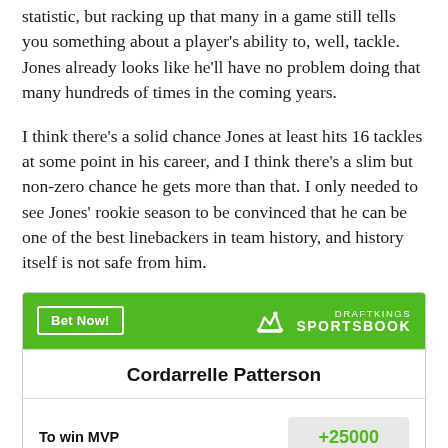statistic, but racking up that many in a game still tells you something about a player's ability to, well, tackle. Jones already looks like he'll have no problem doing that many hundreds of times in the coming years.
I think there's a solid chance Jones at least hits 16 tackles at some point in his career, and I think there's a slim but non-zero chance he gets more than that. I only needed to see Jones' rookie season to be convinced that he can be one of the best linebackers in team history, and history itself is not safe from him.
[Figure (other): DraftKings Sportsbook betting widget showing Cordarrelle Patterson to win MVP at +25000 odds]